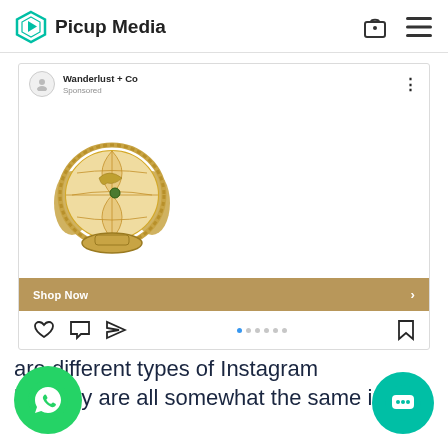Picup Media
[Figure (screenshot): Instagram sponsored post from Wanderlust + Co showing a gold globe ring jewelry product with Shop Now button and post action icons]
are different types of Instagram but they are all somewhat the same in